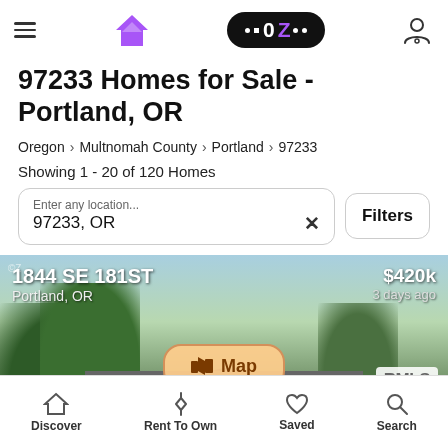Navigation bar with menu, logo, OZ pill logo, and user icon
97233 Homes for Sale - Portland, OR
Oregon > Multnomah County > Portland > 97233
Showing 1 - 20 of 120 Homes
Enter any location... 97233, OR
[Figure (screenshot): Listing card showing 1844 SE 181ST, Portland, OR, $420k, 3 days ago, RMLS badge, Map button overlay on a house photo]
Discover | Rent To Own | Saved | Search